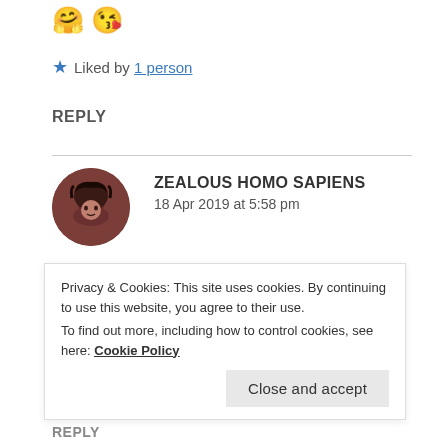🤗 😘
★ Liked by 1 person
REPLY
[Figure (photo): Circular avatar of a person with dark hair, brownish-red toned photo]
ZEALOUS HOMO SAPIENS
18 Apr 2019 at 5:58 pm
Haha, I get you Sonia! Thank you for being so supportive and understanding. Best wishes to
Privacy & Cookies: This site uses cookies. By continuing to use this website, you agree to their use.
To find out more, including how to control cookies, see here: Cookie Policy
Close and accept
REPLY